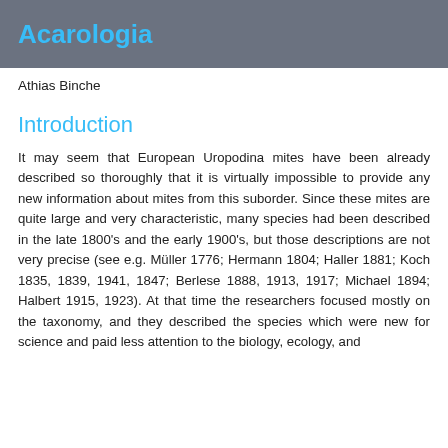Acarologia
Athias Binche
Introduction
It may seem that European Uropodina mites have been already described so thoroughly that it is virtually impossible to provide any new information about mites from this suborder. Since these mites are quite large and very characteristic, many species had been described in the late 1800's and the early 1900's, but those descriptions are not very precise (see e.g. Müller 1776; Hermann 1804; Haller 1881; Koch 1835, 1839, 1941, 1847; Berlese 1888, 1913, 1917; Michael 1894; Halbert 1915, 1923). At that time the researchers focused mostly on the taxonomy, and they described the species which were new for science and paid less attention to the biology, ecology, and